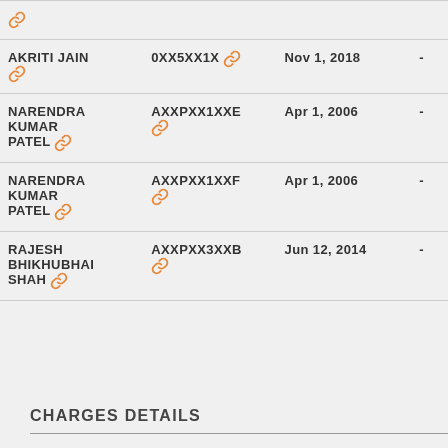| Name | PAN | Date |  |
| --- | --- | --- | --- |
| [link icon] |  |  |  |
| AKRITI JAIN [link] | 0XX5XX1X [link] | Nov 1, 2018 | - |
| NARENDRA KUMAR PATEL [link] | AXXPXX1XXE [link] | Apr 1, 2006 | - |
| NARENDRA KUMAR PATEL [link] | AXXPXX1XXF [link] | Apr 1, 2006 | - |
| RAJESH BHIKHUBHAI SHAH [link] | AXXPXX3XXB [link] | Jun 12, 2014 | - |
CHARGES DETAILS